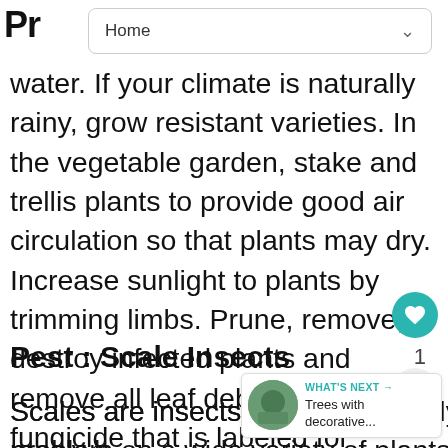Home
water. If your climate is naturally rainy, grow resistant varieties. In the vegetable garden, stake and trellis plants to provide good air circulation so that plants may dry. Increase sunlight to plants by trimming limbs. Prune, remove, or destroy infected plants and remove all leaf debris. Select a fungicide that is labeled for anthracnose and the plant you are treating. Follow the label strictly.
Pest : Scale Insects
Scales are insects, related to mealy bugs. They can be a problem on a wide variety of plants, indoor and outdoor. Young scales crawl until